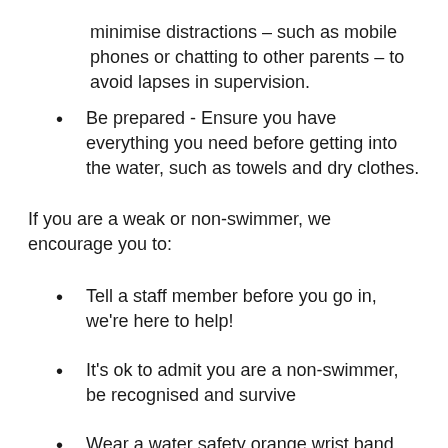minimise distractions – such as mobile phones or chatting to other parents – to avoid lapses in supervision.
Be prepared - Ensure you have everything you need before getting into the water, such as towels and dry clothes.
If you are a weak or non-swimmer, we encourage you to:
Tell a staff member before you go in, we're here to help!
It's ok to admit you are a non-swimmer, be recognised and survive
Wear a water safety orange wrist band while in the water to be recognised by lifeguards (you can get these at reception)